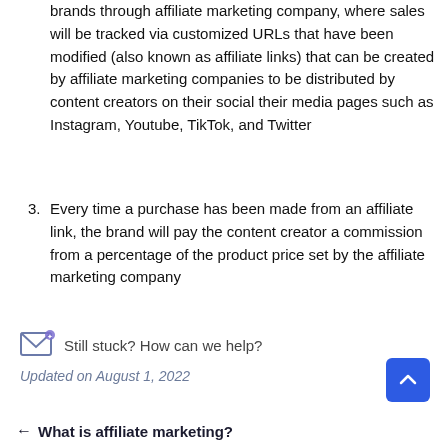brands through affiliate marketing company, where sales will be tracked via customized URLs that have been modified (also known as affiliate links) that can be created by affiliate marketing companies to be distributed by content creators on their social their media pages such as Instagram, Youtube, TikTok, and Twitter
3. Every time a purchase has been made from an affiliate link, the brand will pay the content creator a commission from a percentage of the product price set by the affiliate marketing company
Still stuck? How can we help?
Updated on August 1, 2022
← What is affiliate marketing?